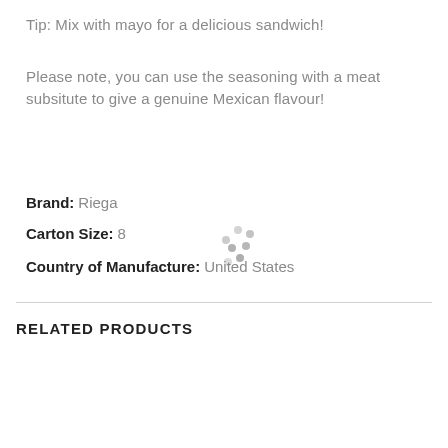Tip: Mix with mayo for a delicious sandwich!
Please note, you can use the seasoning with a meat subsitute to give a genuine Mexican flavour!
Brand:  Riega
Carton Size:  8
Country of Manufacture:  United States
RELATED PRODUCTS